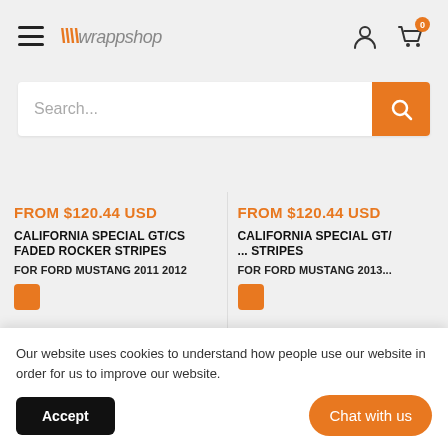wrappshop — navigation header with hamburger menu, logo, user icon, cart icon (0)
Search...
FROM $120.44 USD
CALIFORNIA SPECIAL GT/CS FADED ROCKER STRIPES
FOR FORD MUSTANG 2011 2012
FROM $120.44 USD
CALIFORNIA SPECIAL GT/... STRIPES
FOR FORD MUSTANG 2013...
Our website uses cookies to understand how people use our website in order for us to improve our website.
Accept
Chat with us